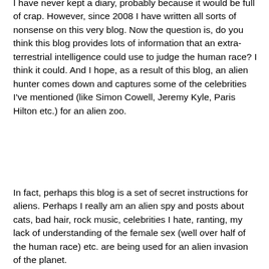I have never kept a diary, probably because it would be full of crap. However, since 2008 I have written all sorts of nonsense on this very blog. Now the question is, do you think this blog provides lots of information that an extra-terrestrial intelligence could use to judge the human race? I think it could. And I hope, as a result of this blog, an alien hunter comes down and captures some of the celebrities I've mentioned (like Simon Cowell, Jeremy Kyle, Paris Hilton etc.) for an alien zoo.
In fact, perhaps this blog is a set of secret instructions for aliens. Perhaps I really am an alien spy and posts about cats, bad hair, rock music, celebrities I hate, ranting, my lack of understanding of the female sex (well over half of the human race) etc. are being used for an alien invasion of the planet.
VERDICT: Alien.
(5) Aliens misuse everyday items.
The example given is an alien may “paint his nails with cheese”...